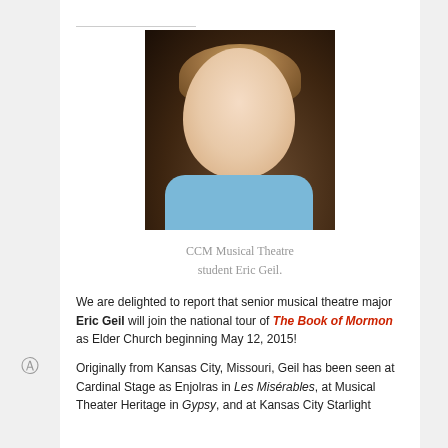[Figure (photo): Headshot photograph of CCM Musical Theatre student Eric Geil, a young man with light brown hair smiling, wearing a light blue shirt, against a dark background.]
CCM Musical Theatre student Eric Geil.
We are delighted to report that senior musical theatre major Eric Geil will join the national tour of The Book of Mormon as Elder Church beginning May 12, 2015!
Originally from Kansas City, Missouri, Geil has been seen at Cardinal Stage as Enjolras in Les Misérables, at Musical Theater Heritage in Gypsy, and at Kansas City Starlight